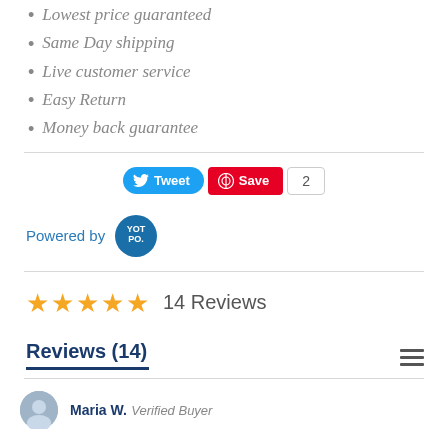Lowest price guaranteed
Same Day shipping
Live customer service
Easy Return
Money back guarantee
[Figure (infographic): Social share buttons: Tweet (Twitter blue button) and Save (Pinterest red button) with count of 2]
Powered by YOTPO
★★★★★  14 Reviews
Reviews (14)
Maria W.  Verified Buyer